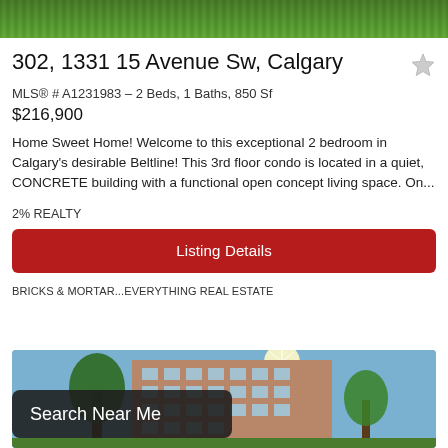[Figure (photo): Green grass/lawn image at top of page]
302, 1331 15 Avenue Sw, Calgary
MLS® # A1231983 – 2 Beds, 1 Baths, 850 Sf
$216,900
Home Sweet Home! Welcome to this exceptional 2 bedroom in Calgary's desirable Beltline! This 3rd floor condo is located in a quiet, CONCRETE building with a functional open concept living space. On...
2% REALTY
Listing Details
BRICKS & MORTAR...EVERYTHING REAL ESTATE
[Figure (photo): Exterior photo of a multi-storey brick apartment building with trees and bright sunlight]
Search Near Me